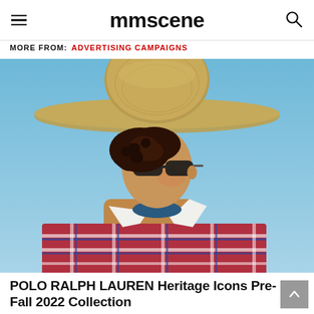mmscene
MORE FROM: ADVERTISING CAMPAIGNS
[Figure (photo): Model wearing a wide-brim straw hat, sunglasses, and a plaid flannel sweater over a white collar shirt, photographed against a clear blue sky.]
POLO RALPH LAUREN Heritage Icons Pre-Fall 2022 Collection